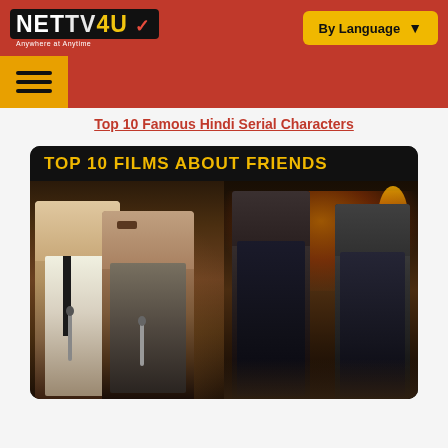NETTV4U — Anywhere at Anytime | By Language
Top 10 Famous Hindi Serial Characters
[Figure (photo): Promotional image titled 'TOP 10 FILMS ABOUT FRIENDS' showing two classic Bollywood actors in suits on the left half and two modern actors walking through fire/smoke on the right half, on a dark background.]